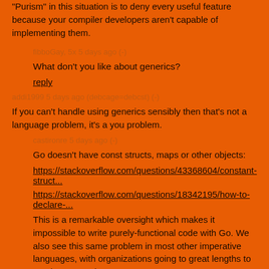"Purism" in this situation is to deny every useful feature because your compiler developers aren't capable of implementing them.
fibboGay, 5x 5 days ago (-)
What don't you like about generics?
reply
addi1999 5 days ago (debcage=debcst) (-)
If you can't handle using generics sensibly then that's not a language problem, it's a you problem.
castironre 5 days ago (-)
Go doesn't have const structs, maps or other objects:
https://stackoverflow.com/questions/43368604/constant-struct...
https://stackoverflow.com/questions/18342195/how-to-declare-...
This is a remarkable oversight which makes it impossible to write purely-functional code with Go. We also see this same problem in most other imperative languages, with organizations going to great lengths to emulate const data:
https://facebook.github.io/immutable-js/